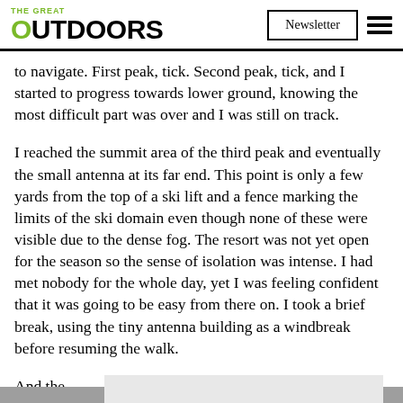THE GREAT OUTDOORS | Newsletter
to navigate. First peak, tick. Second peak, tick, and I started to progress towards lower ground, knowing the most difficult part was over and I was still on track.
I reached the summit area of the third peak and eventually the small antenna at its far end. This point is only a few yards from the top of a ski lift and a fence marking the limits of the ski domain even though none of these were visible due to the dense fog. The resort was not yet open for the season so the sense of isolation was intense. I had met nobody for the whole day, yet I was feeling confident that it was going to be easy from there on. I took a brief break, using the tiny antenna building as a windbreak before resuming the walk.
And the…